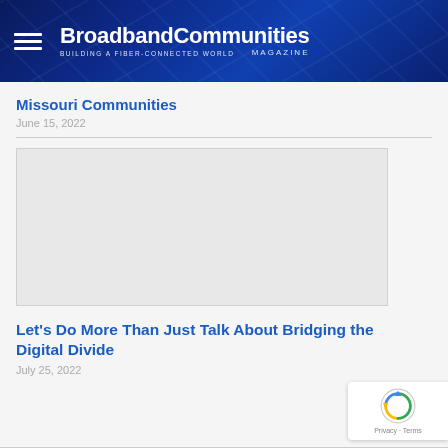BroadbandCommunities Magazine — BUILDING A FIBER-CONNECTED WORLD
Missouri Communities
June 15, 2022
[Figure (photo): Large image placeholder (light grey rectangle) associated with Missouri Communities article]
Let's Do More Than Just Talk About Bridging the Digital Divide
July 25, 2022
[Figure (logo): Google reCAPTCHA badge with Privacy and Terms links]